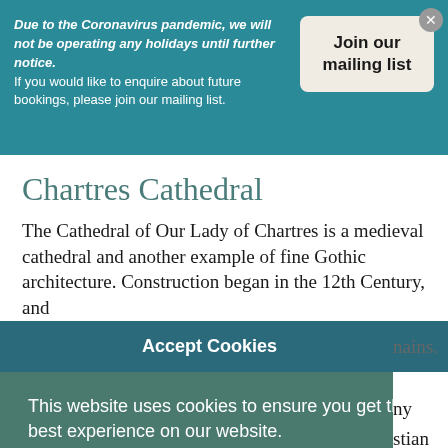Due to the Coronavirus pandemic, we will not be operating any holidays until further notice. If you would like to enquire about future bookings, please join our mailing list.
Join our mailing list
Chartres Cathedral
The Cathedral of Our Lady of Chartres is a medieval cathedral and another example of fine Gothic architecture. Construction began in the 12th Century, and
Accept Cookies
This website uses cookies to ensure you get the best experience on our website.
Learn more